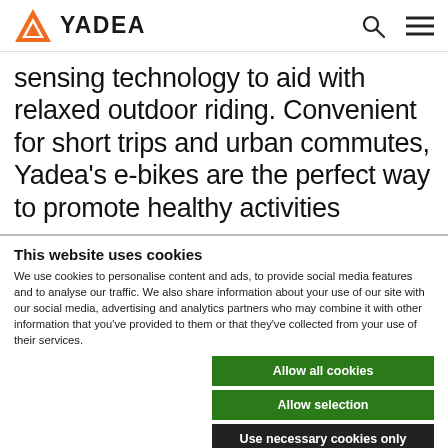YADEA
sensing technology to aid with relaxed outdoor riding. Convenient for short trips and urban commutes, Yadea's e-bikes are the perfect way to promote healthy activities
This website uses cookies
We use cookies to personalise content and ads, to provide social media features and to analyse our traffic. We also share information about your use of our site with our social media, advertising and analytics partners who may combine it with other information that you've provided to them or that they've collected from your use of their services.
Allow all cookies
Allow selection
Use necessary cookies only
Necessary  Preferences  Statistics  Marketing  Show details